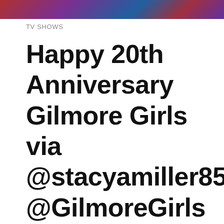[Figure (photo): Partial photo of people visible at the top of the page, cropped]
TV SHOWS
Happy 20th Anniversary Gilmore Girls via @stacyamiller85 @GilmoreGirls @thelaurengraham @alexisbledel